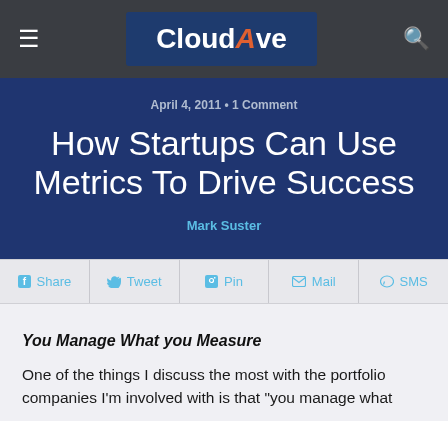CloudAve
April 4, 2011 • 1 Comment
How Startups Can Use Metrics To Drive Success
Mark Suster
Share  Tweet  Pin  Mail  SMS
You Manage What you Measure
One of the things I discuss the most with the portfolio companies I'm involved with is that "you manage what